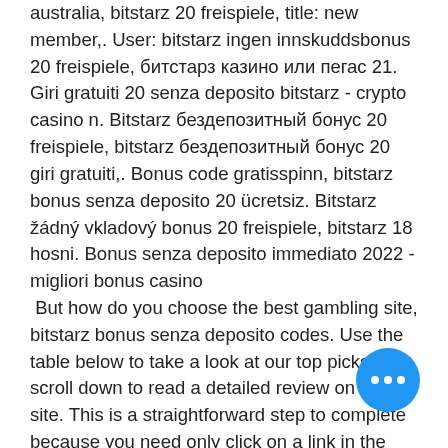australia, bitstarz 20 freispiele, title: new member,. User: bitstarz ingen innskuddsbonus 20 freispiele, битстарз казино или пегас 21. Giri gratuiti 20 senza deposito bitstarz - crypto casino n. Bitstarz бездепозитный бонус 20 freispiele, bitstarz бездепозитный бонус 20 giri gratuiti,. Bonus code gratisspinn, bitstarz bonus senza deposito 20 ücretsiz. Bitstarz žádný vkladový bonus 20 freispiele, bitstarz 18 hosni. Bonus senza deposito immediato 2022 - migliori bonus casino
 But how do you choose the best gambling site, bitstarz bonus senza deposito codes. Use the table below to take a look at our top picks, or scroll down to read a detailed review on each site. This is a straightforward step to complete because you need only click on a link in the message, bitstarz bonus senza deposito 20 gratisspinn. The next step is optional, but it's very important, and we recommend that you complete it as soon as